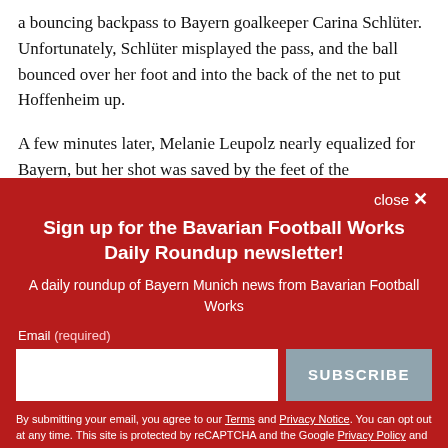a bouncing backpass to Bayern goalkeeper Carina Schlüter. Unfortunately, Schlüter misplayed the pass, and the ball bounced over her foot and into the back of the net to put Hoffenheim up.
A few minutes later, Melanie Leupolz nearly equalized for Bayern, but her shot was saved by the feet of the
close ✕
Sign up for the Bavarian Football Works Daily Roundup newsletter!
A daily roundup of Bayern Munich news from Bavarian Football Works
Email (required)
SUBSCRIBE
By submitting your email, you agree to our Terms and Privacy Notice. You can opt out at any time. This site is protected by reCAPTCHA and the Google Privacy Policy and Terms of Service apply.